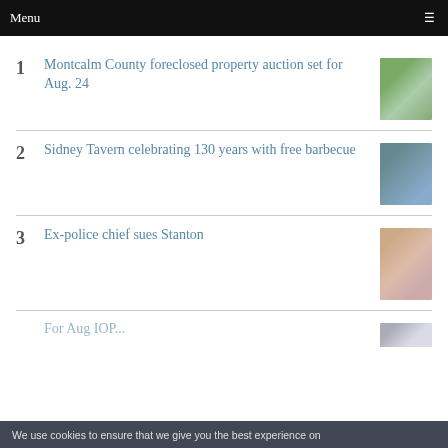Menu
1 Montcalm County foreclosed property auction set for Aug. 24
2 Sidney Tavern celebrating 130 years with free barbecue
3 Ex-police chief sues Stanton
4 [partial, cut off]
We use cookies to ensure that we give you the best experience on